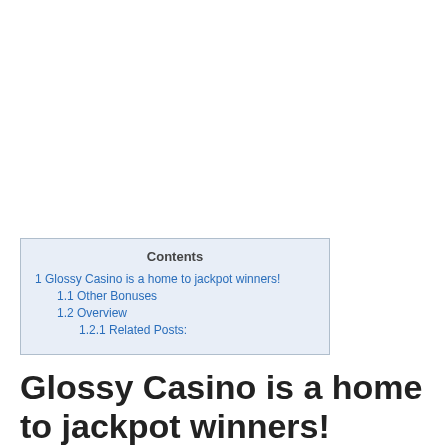| Contents |
| --- |
| 1 Glossy Casino is a home to jackpot winners! |
| 1.1 Other Bonuses |
| 1.2 Overview |
| 1.2.1 Related Posts: |
Glossy Casino is a home to jackpot winners!